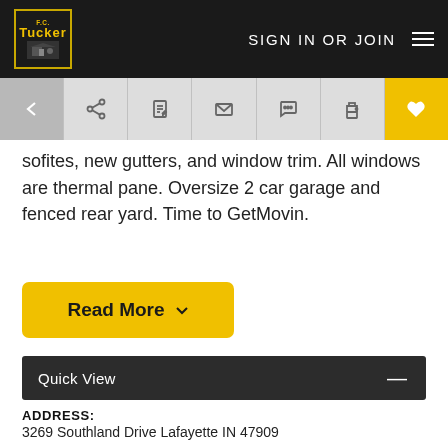F.C. Tucker | SIGN IN OR JOIN
sofites, new gutters, and window trim. All windows are thermal pane. Oversize 2 car garage and fenced rear yard. Time to GetMovin.
Read More
Quick View
ADDRESS:
3269 Southland Drive Lafayette IN 47909
STATUS:
Sold
SOLD ON:
9/18/2020